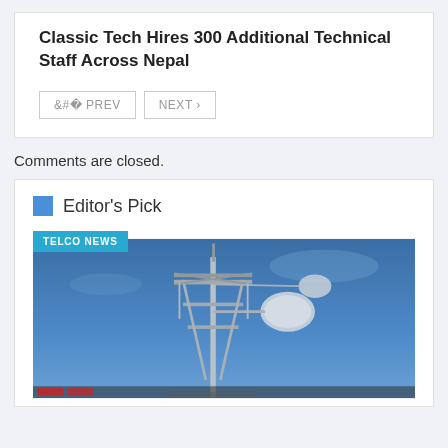Classic Tech Hires 300 Additional Technical Staff Across Nepal
< PREV   NEXT >
Comments are closed.
Editor's Pick
[Figure (photo): Telecommunications tower with antenna equipment against a blue sky, with a 'TELCO NEWS' badge overlay in the top-left corner.]